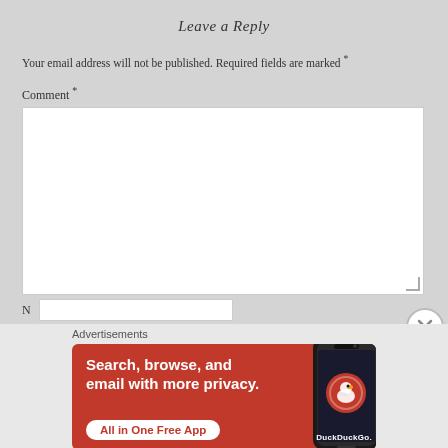Leave a Reply
Your email address will not be published. Required fields are marked *
Comment *
[Figure (screenshot): Empty comment textarea input field with resize handle]
Advertisements
[Figure (illustration): DuckDuckGo advertisement banner with orange background showing 'Search, browse, and email with more privacy. All in One Free App' with phone mockup and DuckDuckGo logo]